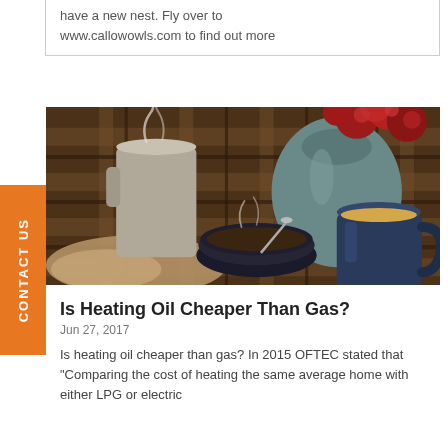have a new nest. Fly over to www.callowowls.com to find out more
[Figure (photo): Cozy warm scene with steaming mugs, a dark bowl with a spoon, a jug with cream, a vase of red flowers, and a knitted fabric on a rustic wooden surface with plaid background]
Is Heating Oil Cheaper Than Gas?
Jun 27, 2017
Is heating oil cheaper than gas? In 2015 OFTEC stated that "Comparing the cost of heating the same average home with either LPG or electric